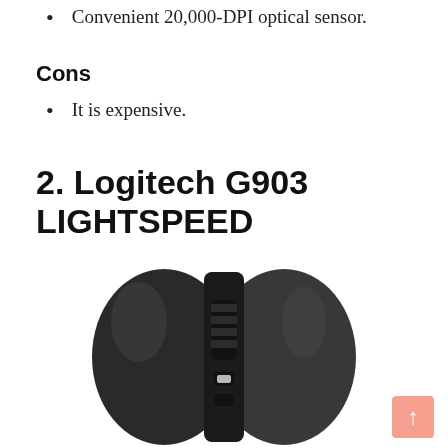Convenient 20,000-DPI optical sensor.
Cons
It is expensive.
2. Logitech G903 LIGHTSPEED
[Figure (photo): Top-down view of the Logitech G903 LIGHTSPEED wireless gaming mouse, showing the scroll wheel, scroll wheel button, and top shell in dark gray/black color scheme.]